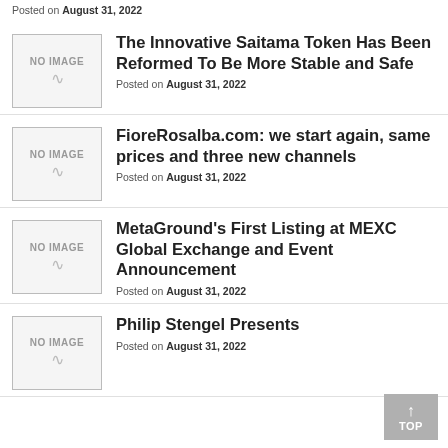Posted on August 31, 2022
[Figure (other): NO IMAGE placeholder box with smile icon]
The Innovative Saitama Token Has Been Reformed To Be More Stable and Safe
Posted on August 31, 2022
[Figure (other): NO IMAGE placeholder box with smile icon]
FioreRosalba.com: we start again, same prices and three new channels
Posted on August 31, 2022
[Figure (other): NO IMAGE placeholder box with smile icon]
MetaGround's First Listing at MEXC Global Exchange and Event Announcement
Posted on August 31, 2022
[Figure (other): NO IMAGE placeholder box with smile icon]
Philip Stengel Presents
Posted on August 31, 2022